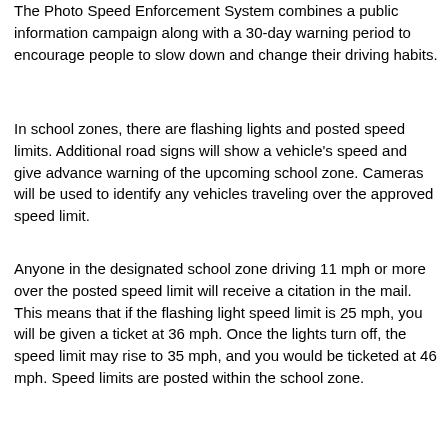The Photo Speed Enforcement System combines a public information campaign along with a 30-day warning period to encourage people to slow down and change their driving habits.
In school zones, there are flashing lights and posted speed limits. Additional road signs will show a vehicle's speed and give advance warning of the upcoming school zone. Cameras will be used to identify any vehicles traveling over the approved speed limit.
Anyone in the designated school zone driving 11 mph or more over the posted speed limit will receive a citation in the mail. This means that if the flashing light speed limit is 25 mph, you will be given a ticket at 36 mph. Once the lights turn off, the speed limit may rise to 35 mph, and you would be ticketed at 46 mph. Speed limits are posted within the school zone.